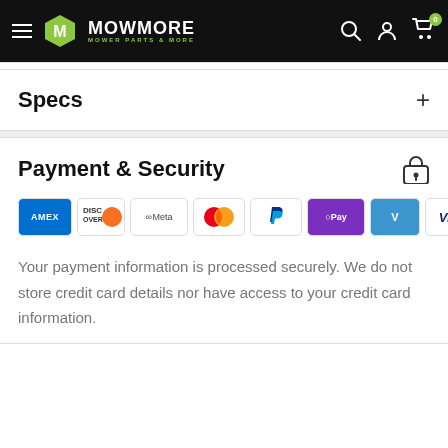MOWMORE — MOWER PARTS & MORE
Specs
Payment & Security
[Figure (logo): Payment method icons: American Express, Discover, Meta Pay, Mastercard, PayPal, O Pay, Venmo, Visa]
Your payment information is processed securely. We do not store credit card details nor have access to your credit card information.